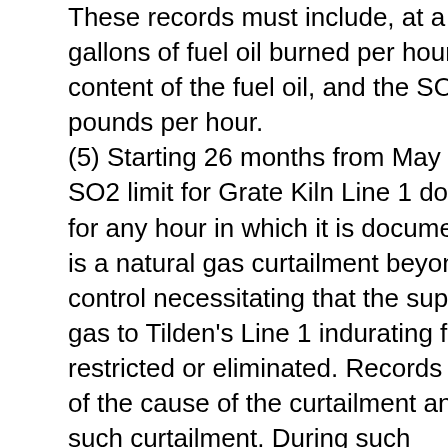These records must include, at a minimum, the gallons of fuel oil burned per hour, the sulfur content of the fuel oil, and the SO2 emissions in pounds per hour. (5) Starting 26 months from May 12, 2016, the SO2 limit for Grate Kiln Line 1 does not apply for any hour in which it is documented that there is a natural gas curtailment beyond Cliffs' control necessitating that the supply of natural gas to Tilden's Line 1 indurating furnace is restricted or eliminated. Records must be kept of the cause of the curtailment and duration of such curtailment. During such